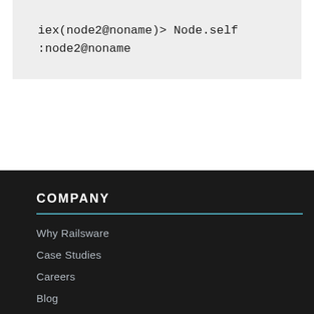iex(node2@noname)> Node.self
:node2@noname
COMPANY
Why Railsware
Case Studies
Careers
Blog
Open Source